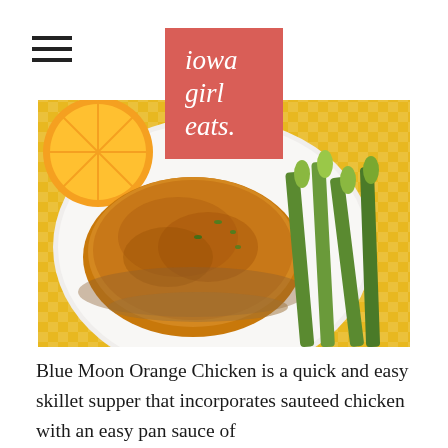iowa girl eats.
[Figure (photo): Close-up photo of Blue Moon Orange Chicken on a white plate with asparagus, orange slices, and a yellow checkered tablecloth background. The chicken is golden-brown and glazed with sauce, garnished with green herbs.]
Blue Moon Orange Chicken is a quick and easy skillet supper that incorporates sauteed chicken with an easy pan sauce of Blue Moon beer, low-sodium soy sauce, and fresh orange juice.